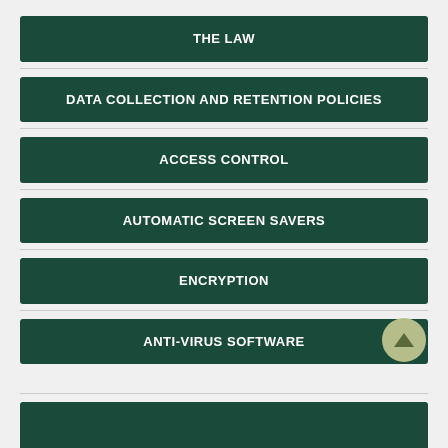THE LAW
DATA COLLECTION AND RETENTION POLICIES
ACCESS CONTROL
AUTOMATIC SCREEN SAVERS
ENCRYPTION
ANTI-VIRUS SOFTWARE